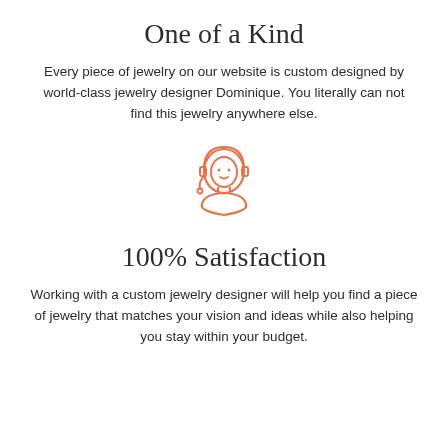One of a Kind
Every piece of jewelry on our website is custom designed by world-class jewelry designer Dominique. You literally can not find this jewelry anywhere else.
[Figure (illustration): Orange outline illustration of a woman with headset (customer service representative)]
100% Satisfaction
Working with a custom jewelry designer will help you find a piece of jewelry that matches your vision and ideas while also helping you stay within your budget.